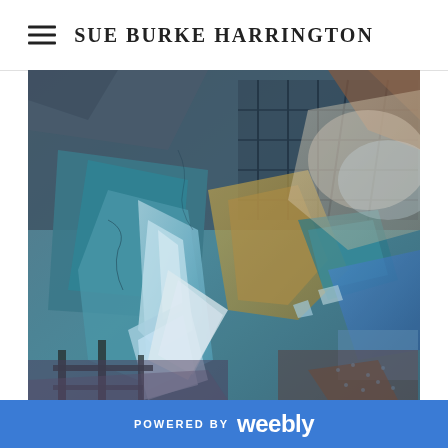SUE BURKE HARRINGTON
[Figure (illustration): Abstract mixed-media painting featuring geometric angular shapes, crystal-like forms in teal, blue, yellow, and brown tones with overlapping textures suggesting architectural and natural elements. The painting has a collage-like quality with layered transparent areas.]
POWERED BY weebly